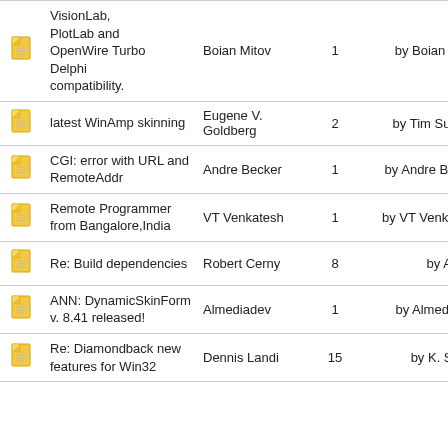|  | Title | Author | Replies | Last Post |
| --- | --- | --- | --- | --- |
| [icon] | VisionLab, PlotLab and OpenWire Turbo Delphi compatibility. | Boian Mitov | 1 | by Boian Mitov |
| [icon] | latest WinAmp skinning | Eugene V. Goldberg | 2 | by Tim Sullivan |
| [icon] | CGI: error with URL and RemoteAddr | Andre Becker | 1 | by Andre Becker |
| [icon] | Remote Programmer from Bangalore,India | VT Venkatesh | 1 | by VT Venkatesh |
| [icon] | Re: Build dependencies | Robert Cerny | 8 | by Alvaro |
| [icon] | ANN: DynamicSkinForm v. 8.41 released! | Almediadev | 1 | by Almediadev |
| [icon] | Re: Diamondback new features for Win32 | Dennis Landi | 15 | by K. Sallee |